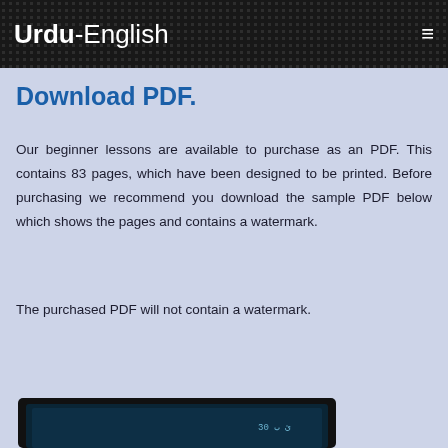Urdu-English
Download PDF.
Our beginner lessons are available to purchase as an PDF. This contains 83 pages, which have been designed to be printed. Before purchasing we recommend you download the sample PDF below which shows the pages and contains a watermark.
The purchased PDF will not contain a watermark.
[Figure (photo): Bottom portion of a device screen showing a dark interface, partially visible at the bottom of the page]